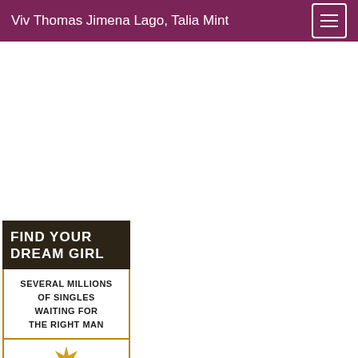Viv Thomas Jimena Lago, Talia Mint
[Figure (illustration): Book cover thumbnail showing 'FIND YOUR DREAM GIRL' in white text on dark brown background, with subtitle 'SEVERAL MILLIONS OF SINGLES WAITING FOR THE RIGHT MAN' in black on white, and a partial gold starburst shape at the bottom.]